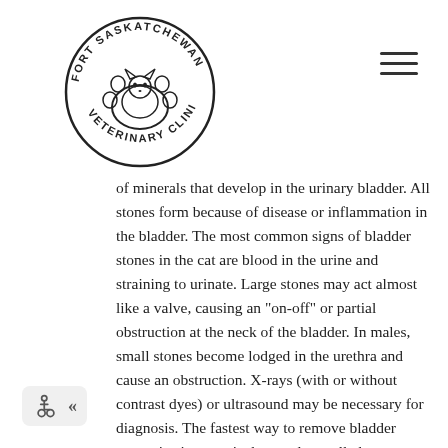[Figure (logo): Fort Saskatchewan Veterinary Clinic circular logo with paw print and cat/dog illustration]
of minerals that develop in the urinary bladder. All stones form because of disease or inflammation in the bladder. The most common signs of bladder stones in the cat are blood in the urine and straining to urinate. Large stones may act almost like a valve, causing an "on-off" or partial obstruction at the neck of the bladder. In males, small stones become lodged in the urethra and cause an obstruction. X-rays (with or without contrast dyes) or ultrasound may be necessary for diagnosis. The fastest way to remove bladder stones is via a surgical procedure called a cystotomy. Special diets or passing a catheter may be successful for some bladder stones. Your veterinarian will advise you of the best course of action for your cat's particular